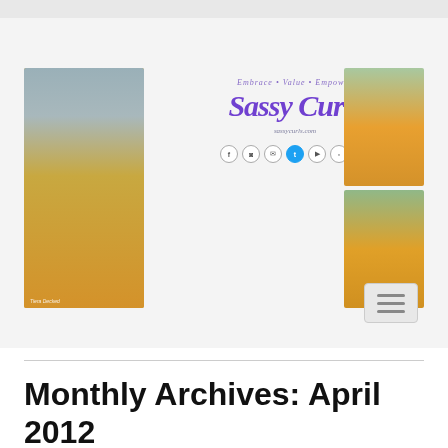[Figure (screenshot): Website header banner for 'Sassy Curls' blog showing a woman in a white top and mustard yellow skirt on the left, the Sassy Curls logo in purple cursive script in the center with tagline 'Embrace · Value · Empower' and website URL sassycurls.com and social media icons, and two stacked photos of the same woman on the right. A hamburger menu button is visible at bottom right of the banner.]
Monthly Archives: April 2012